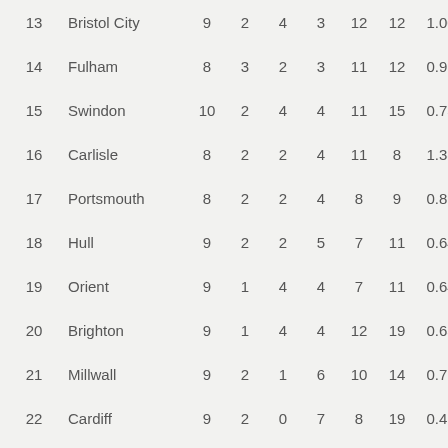| # | Team | P | W | D | L | F | A | Ratio | Pts |
| --- | --- | --- | --- | --- | --- | --- | --- | --- | --- |
| 13 | Bristol City | 9 | 2 | 4 | 3 | 12 | 12 | 1.00 | 8 |
| 14 | Fulham | 8 | 3 | 2 | 3 | 11 | 12 | 0.92 | 8 |
| 15 | Swindon | 10 | 2 | 4 | 4 | 11 | 15 | 0.73 | 8 |
| 16 | Carlisle | 8 | 2 | 2 | 4 | 11 | 8 | 1.38 | 6 |
| 17 | Portsmouth | 8 | 2 | 2 | 4 | 8 | 9 | 0.89 | 6 |
| 18 | Hull | 9 | 2 | 2 | 5 | 7 | 11 | 0.64 | 6 |
| 19 | Orient | 9 | 1 | 4 | 4 | 7 | 11 | 0.64 | 6 |
| 20 | Brighton | 9 | 1 | 4 | 4 | 12 | 19 | 0.63 | 6 |
| 21 | Millwall | 9 | 2 | 1 | 6 | 10 | 14 | 0.71 | 5 |
| 22 | Cardiff | 9 | 2 | 0 | 7 | 8 | 19 | 0.42 | 4 |